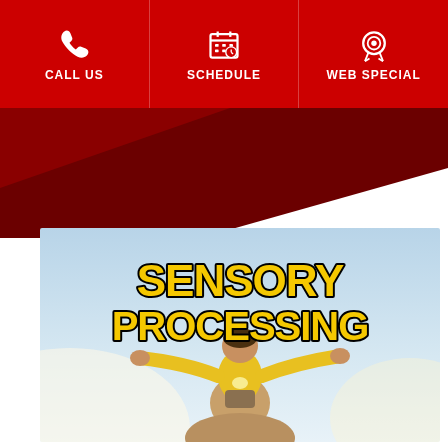CALL US | SCHEDULE | WEB SPECIAL
[Figure (illustration): Dark red diagonal swoosh/banner element below navigation bar on white background]
[Figure (photo): Sensory Processing banner image showing a child in a yellow shirt with arms outstretched sitting on someone's shoulders against a light sky background, with bold yellow text reading SENSORY PROCESSING at the top]